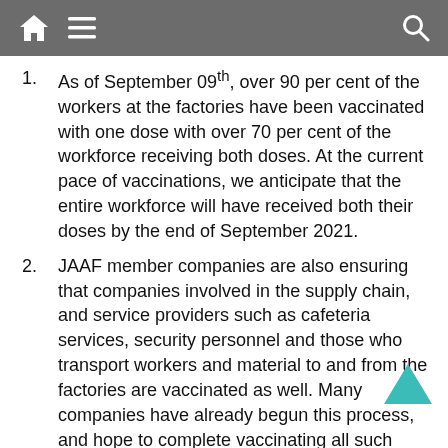Home menu search
As of September 09th, over 90 per cent of the workers at the factories have been vaccinated with one dose with over 70 per cent of the workforce receiving both doses. At the current pace of vaccinations, we anticipate that the entire workforce will have received both their doses by the end of September 2021.
JAAF member companies are also ensuring that companies involved in the supply chain, and service providers such as cafeteria services, security personnel and those who transport workers and material to and from the factories are vaccinated as well. Many companies have already begun this process, and hope to complete vaccinating all such personnel very soon.
Social distancing and other safety protocols mandated by the Ministry of Health continue to be strictly monitored and implemented. Many factories have created safe…